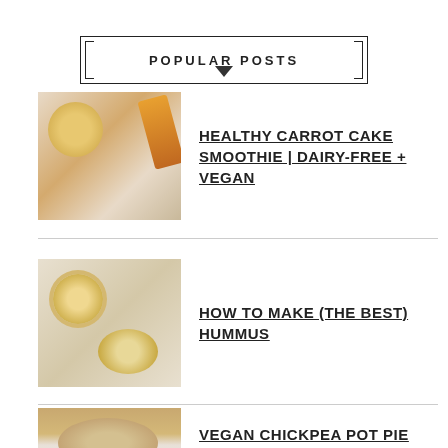POPULAR POSTS
HEALTHY CARROT CAKE SMOOTHIE | DAIRY-FREE + VEGAN
HOW TO MAKE (THE BEST) HUMMUS
VEGAN CHICKPEA POT PIE (GLUTEN & GRAIN FREE!)